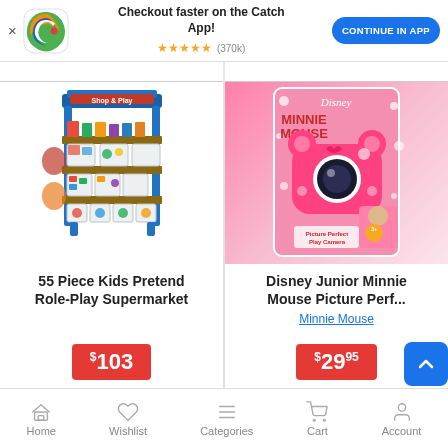[Figure (screenshot): Catch app promotional banner with logo, tagline 'Checkout faster on the Catch App!', 5-star rating (370k reviews), and 'CONTINUE IN APP' button]
[Figure (photo): 55 Piece Kids Pretend Role-Play Supermarket toy product image]
55 Piece Kids Pretend Role-Play Supermarket
$103
[Figure (photo): Disney Junior Minnie Mouse Picture Perfect Play Camera product image in pink packaging]
Disney Junior Minnie Mouse Picture Perf...
Minnie Mouse
$29.95
Home | Wishlist | Categories | Cart | Account